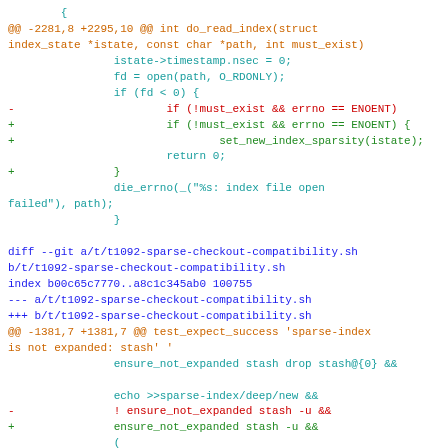Code diff showing changes to do_read_index and t1092-sparse-checkout-compatibility.sh
diff --git a/t/t1092-sparse-checkout-compatibility.sh b/t/t1092-sparse-checkout-compatibility.sh
index b00c65c7770..a8c1c345ab0 100755
--- a/t/t1092-sparse-checkout-compatibility.sh
+++ b/t/t1092-sparse-checkout-compatibility.sh
@@ -1381,7 +1381,7 @@ test_expect_success 'sparse-index is not expanded: stash' '
	ensure_not_expanded stash drop stash@{0} &&

	echo >>sparse-index/deep/new &&
-	! ensure_not_expanded stash -u &&
+	ensure_not_expanded stash -u &&
	(
		WITHOUT_UNTRACKED_TXT=1 &&
		! ensure_not_expanded stash pop